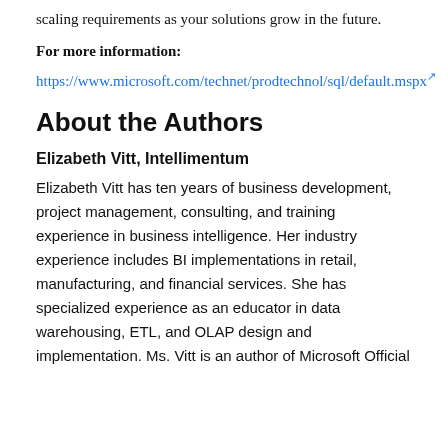scaling requirements as your solutions grow in the future.
For more information:
https://www.microsoft.com/technet/prodtechnol/sql/default.mspx
About the Authors
Elizabeth Vitt, Intellimentum
Elizabeth Vitt has ten years of business development, project management, consulting, and training experience in business intelligence. Her industry experience includes BI implementations in retail, manufacturing, and financial services. She has specialized experience as an educator in data warehousing, ETL, and OLAP design and implementation. Ms. Vitt is an author of Microsoft Official